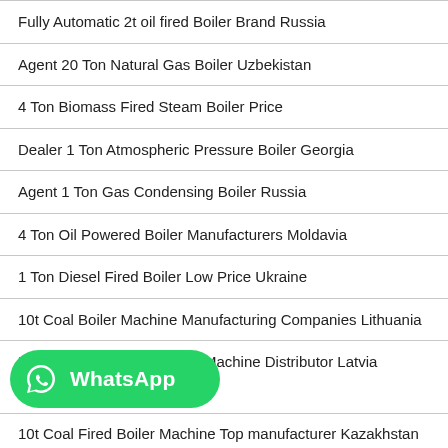Fully Automatic 2t oil fired Boiler Brand Russia
Agent 20 Ton Natural Gas Boiler Uzbekistan
4 Ton Biomass Fired Steam Boiler Price
Dealer 1 Ton Atmospheric Pressure Boiler Georgia
Agent 1 Ton Gas Condensing Boiler Russia
4 Ton Oil Powered Boiler Manufacturers Moldavia
1 Ton Diesel Fired Boiler Low Price Ukraine
10t Coal Boiler Machine Manufacturing Companies Lithuania
Industrial 4t gas fired Boiler Machine Distributor Latvia
[Figure (logo): WhatsApp contact button with green background, WhatsApp icon and bold white text 'WhatsApp']
10t Coal Fired Boiler Machine Top manufacturer Kazakhstan